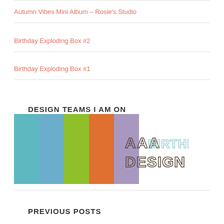Autumn Vibes Mini Album – Rosie's Studio
Birthday Exploding Box #2
Birthday Exploding Box #1
DESIGN TEAMS I AM ON
[Figure (logo): AAA Birthday Design Team logo with colorful vertical stripes (teal, blue, green, orange, purple) on the left and large block lettering 'AAA BIRTHDAY DESIGN TEAM' on the right]
PREVIOUS POSTS